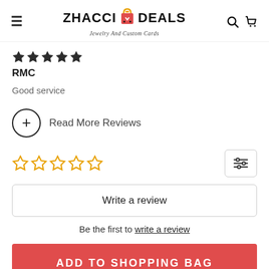ZHACCI DEALS — Jewelry And Custom Cards
[Figure (other): Five filled black star rating icons]
RMC
Good service
Read More Reviews
[Figure (other): Five empty/outline star rating icons for user input, with a filter/sliders button on the right]
Write a review
Be the first to write a review